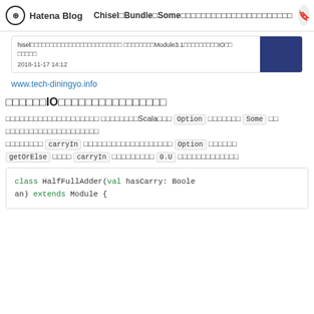Hatena Blog | Chisel□Bundle□Some□□□□□□□□□□□□□□□□□□□□□□
hisel□□□□□□□□□□□□□□□□□□□□□□□□ □□□□□□□□Module3.1□□□□□□□□□IO□□ □□□□□
2018-11-17 14:12
www.tech-diningyo.info
□□□□□□IO□□□□□□□□□□□□□□□□
□□□□□□□□□□□□□□□□□□□□ □□□□□□□□Scala□□□ Option □□□□□□□ Some □□ □□□□□□□□□□□□□□□□□□□□
□□□□□□□□ carryIn □□□□□□□□□□□□□□□□□□□ Option □□□□□□ getOrElse □□□□ carryIn □□□□□□□□□ 0.U □□□□□□□□□□□□□
class HalfFullAdder(val hasCarry: Boolean) extends Module {